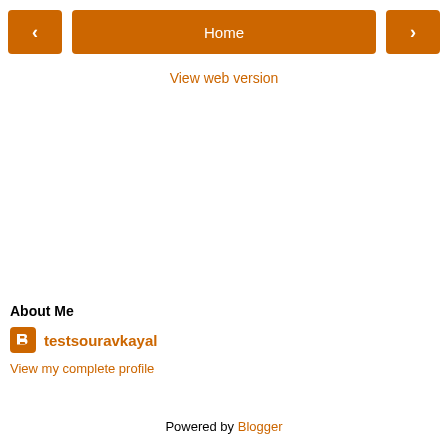< Home >
View web version
About Me
testsouravkayal
View my complete profile
Powered by Blogger